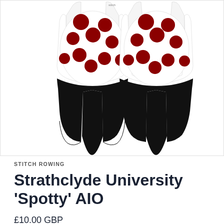[Figure (illustration): Front and back view of a white cycling/rowing all-in-one (AIO) suit with large dark red/crimson polka dots on white fabric top and solid black shorts bottom. Two views shown side by side against white background.]
STITCH ROWING
Strathclyde University 'Spotty' AIO
£10.00 GBP